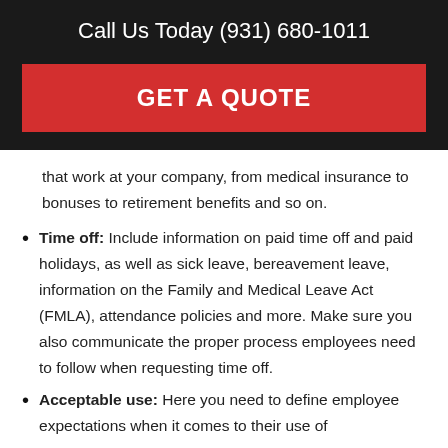Call Us Today (931) 680-1011
GET A QUOTE
that work at your company, from medical insurance to bonuses to retirement benefits and so on.
Time off: Include information on paid time off and paid holidays, as well as sick leave, bereavement leave, information on the Family and Medical Leave Act (FMLA), attendance policies and more. Make sure you also communicate the proper process employees need to follow when requesting time off.
Acceptable use: Here you need to define employee expectations when it comes to their use of